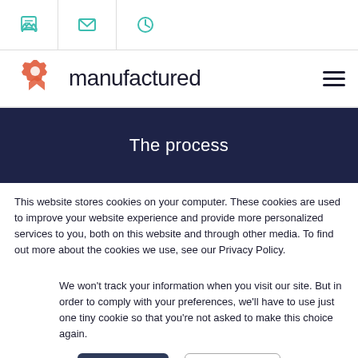Icons: phone, email, clock
[Figure (logo): Manufactured company logo with gear/arrow icon in red-orange and the word 'manufactured' in dark navy, with hamburger menu icon on the right]
The process
This website stores cookies on your computer. These cookies are used to improve your website experience and provide more personalized services to you, both on this website and through other media. To find out more about the cookies we use, see our Privacy Policy.
We won't track your information when you visit our site. But in order to comply with your preferences, we'll have to use just one tiny cookie so that you're not asked to make this choice again.
Accept | Decline